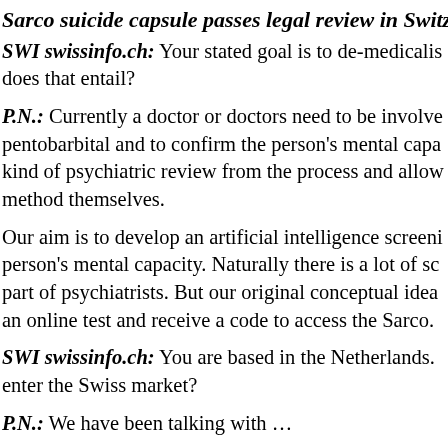Sarco suicide capsule passes legal review in Switzerlan
SWI swissinfo.ch: Your stated goal is to de-medicalise … does that entail?
P.N.: Currently a doctor or doctors need to be involved … pentobarbital and to confirm the person's mental capa… kind of psychiatric review from the process and allow … method themselves.
Our aim is to develop an artificial intelligence screeni… person's mental capacity. Naturally there is a lot of sc… part of psychiatrists. But our original conceptual idea … an online test and receive a code to access the Sarco.
SWI swissinfo.ch: You are based in the Netherlands. … enter the Swiss market?
P.N.: We have been talking with … S…